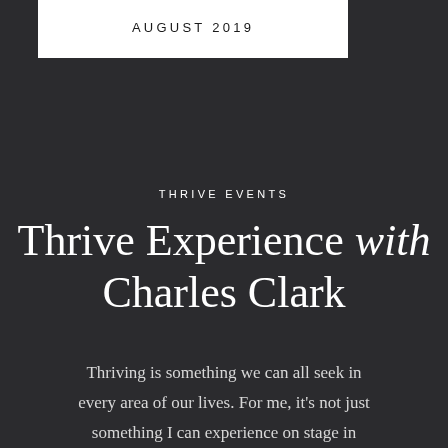AUGUST 2019
THRIVE EVENTS
Thrive Experience with Charles Clark
Thriving is something we can all seek in every area of our lives. For me, it's not just something I can experience on stage in